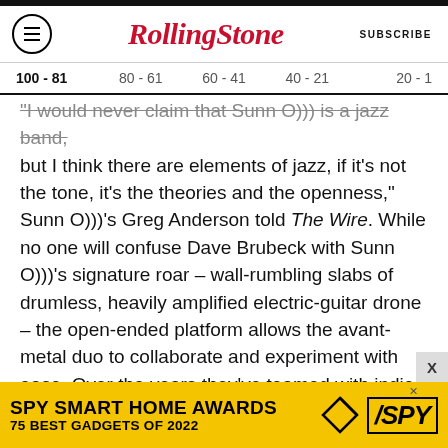RollingStone | SUBSCRIBE
100 - 81  80 - 61  60 - 41  40 - 21  20 - 1
"I would never claim that Sunn O))) is a jazz band, but I think there are elements of jazz, if it's not the tone, it's the theories and the openness," Sunn O)))'s Greg Anderson told The Wire. While no one will confuse Dave Brubeck with Sunn O)))'s signature roar – wall-rumbling slabs of drumless, heavily amplified electric-guitar drone – the open-ended platform allows the avant-metal duo to collaborate and experiment with ease. Over the years they've teamed with indie-rock violinist Petra Haden, shoegaze-metal stalwarts Boris,
[Figure (other): SPY Smart Home Awards advertisement banner: '75 BEST GADGETS OF 2022' on yellow background with SPY logo]